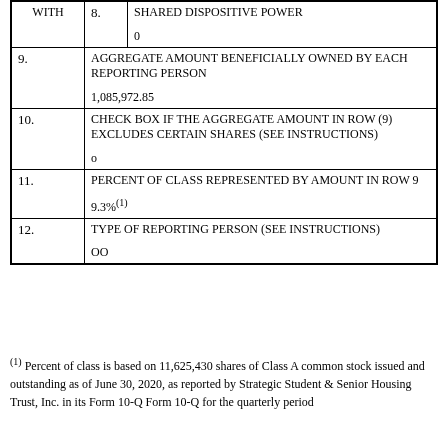| WITH | 8. | SHARED DISPOSITIVE POWER

0 |
| 9. | AGGREGATE AMOUNT BENEFICIALLY OWNED BY EACH REPORTING PERSON

1,085,972.85 |
| 10. | CHECK BOX IF THE AGGREGATE AMOUNT IN ROW (9) EXCLUDES CERTAIN SHARES (SEE INSTRUCTIONS)

o |
| 11. | PERCENT OF CLASS REPRESENTED BY AMOUNT IN ROW 9

9.3%(1) |
| 12. | TYPE OF REPORTING PERSON (SEE INSTRUCTIONS)

OO |
(1) Percent of class is based on 11,625,430 shares of Class A common stock issued and outstanding as of June 30, 2020, as reported by Strategic Student & Senior Housing Trust, Inc. in its Form 10-Q Form 10-Q for the quarterly period